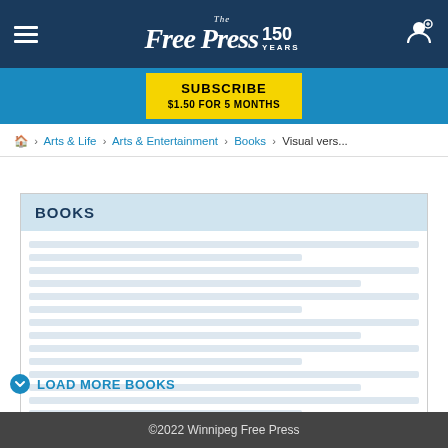The Free Press 150 Years
SUBSCRIBE $1.50 FOR 5 MONTHS
Home > Arts & Life > Arts & Entertainment > Books > Visual vers...
BOOKS
[Figure (other): Skeleton loading placeholder lines for book article list]
LOAD MORE BOOKS
©2022 Winnipeg Free Press